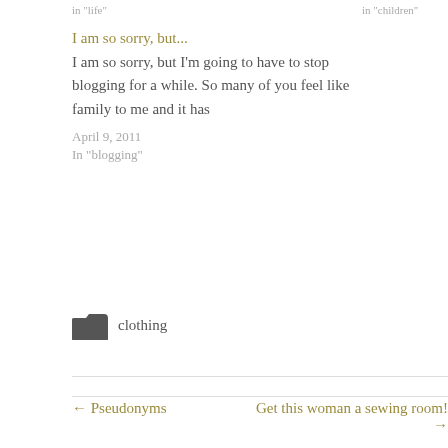in "life"   in "children"
I am so sorry, but...
I am so sorry, but I'm going to have to stop blogging for a while. So many of you feel like family to me and it has
April 9, 2011
In "blogging"
clothing
← Pseudonyms
Get this woman a sewing room! →